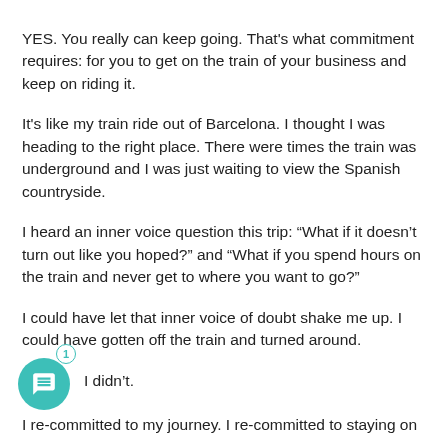YES. You really can keep going. That's what commitment requires: for you to get on the train of your business and keep on riding it.
It's like my train ride out of Barcelona. I thought I was heading to the right place. There were times the train was underground and I was just waiting to view the Spanish countryside.
I heard an inner voice question this trip: “What if it doesn’t turn out like you hoped?” and “What if you spend hours on the train and never get to where you want to go?”
I could have let that inner voice of doubt shake me up. I could have gotten off the train and turned around.
I didn’t.
I re-committed to my journey. I re-committed to staying on...